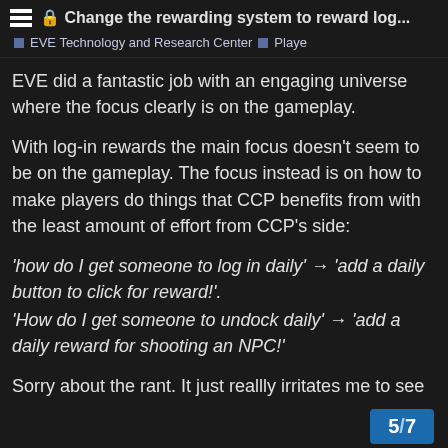🔒 Change the rewarding system to reward log...
EVE Technology and Research Center  ▪ Playe
EVE did a fantastic job with an engaging universe where the focus clearly is on the gameplay.
With log-in rewards the main focus doesn't seem to be on the gameplay. The focus instead is on how to make players do things that CCP benefits from with the least amount of effort from CCP's side:
'how do I get someone to log in daily' → 'add a daily button to click for reward!'.
'How do I get someone to undock daily' → 'add a daily reward for shooting an NPC!'
Sorry about the rant. It just reallly irritates me to see these cheap tricks appear in games I like.
5 / 7